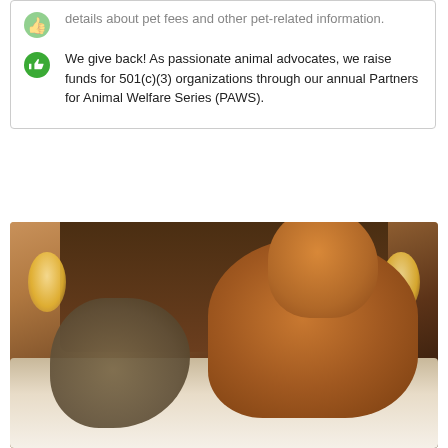details about pet fees and other pet-related information.
We give back! As passionate animal advocates, we raise funds for 501(c)(3) organizations through our annual Partners for Animal Welfare Series (PAWS).
[Figure (photo): Hotel room photo with a dog and cat on a bed, overlaid with promotional text 'Book 2+ Nights, Get a Free VIP Box']